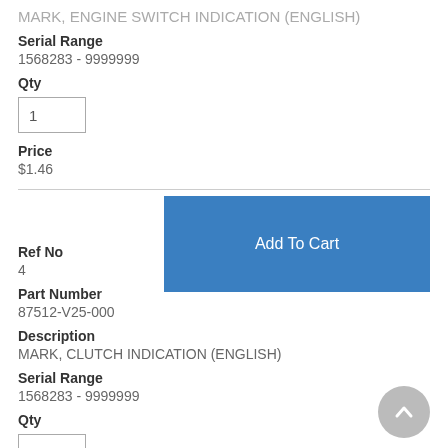MARK, ENGINE SWITCH INDICATION (ENGLISH)
Serial Range
1568283 - 9999999
Qty
1
Price
$1.46
Ref No
4
Part Number
87512-V25-000
Description
MARK, CLUTCH INDICATION (ENGLISH)
Serial Range
1568283 - 9999999
Qty
1
Price